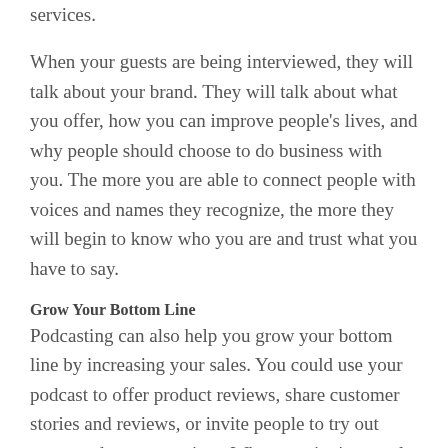services.
When your guests are being interviewed, they will talk about your brand. They will talk about what you offer, how you can improve people’s lives, and why people should choose to do business with you. The more you are able to connect people with voices and names they recognize, the more they will begin to know who you are and trust what you have to say.
Grow Your Bottom Line
Podcasting can also help you grow your bottom line by increasing your sales. You could use your podcast to offer product reviews, share customer stories and reviews, or invite people to try out your products or services. When you invite people to try out your products, you are giving them a chance to get a first-hand